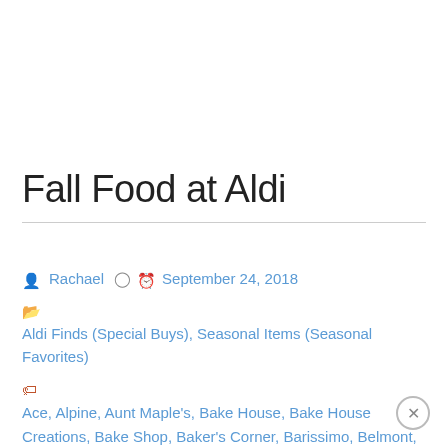Fall Food at Aldi
Rachael  September 24, 2018
Aldi Finds (Special Buys), Seasonal Items (Seasonal Favorites)
Ace, Alpine, Aunt Maple's, Bake House, Bake House Creations, Bake Shop, Baker's Corner, Barissimo, Belmont, Benton's, Berryhill, Breakfast Best, Choceur, Clancy's, Friendly Farms, Happy Farms, Hostess, Kellogg's, Little Debbie, Millville, Nature's Nectar, Never Any!, O'Donnells,